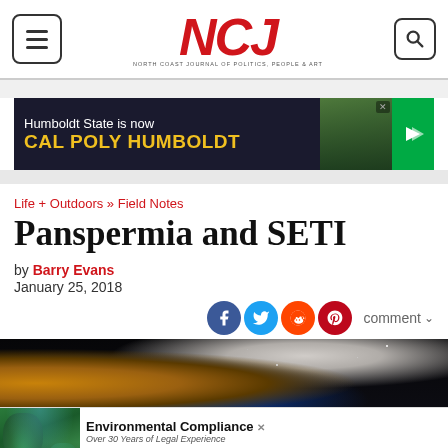NCJ — North Coast Journal of Politics, People & Art
[Figure (screenshot): Advertisement banner: Humboldt State is now Cal Poly Humboldt]
Life + Outdoors » Field Notes
Panspermia and SETI
by Barry Evans
January 25, 2018
[Figure (photo): Hero image showing space scene with planets and stars against dark sky]
[Figure (screenshot): Advertisement: Environmental Compliance — Over 30 Years of Legal Experience. North Coast. Paul Hagen, Attorney at Law • 707-630-5012]